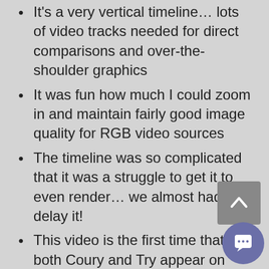It's a very vertical timeline… lots of video tracks needed for direct comparisons and over-the-shoulder graphics
It was fun how much I could zoom in and maintain fairly good image quality for RGB video sources
The timeline was so complicated that it was a struggle to get it to even render… we almost had to delay it!
This video is the first time that both Coury and Try appear on screen in the same episode… worked out so well that we'll be definitely be doing it more in